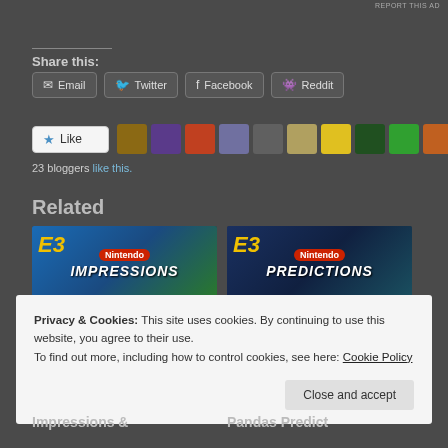REPORT THIS AD
Share this:
[Figure (screenshot): Share buttons row: Email, Twitter, Facebook, Reddit]
[Figure (screenshot): Like button with star icon and 10 blogger avatars]
23 bloggers like this.
Related
[Figure (screenshot): Nintendo E3 Impressions thumbnail]
[Figure (screenshot): Nintendo E3 Predictions thumbnail]
Privacy & Cookies: This site uses cookies. By continuing to use this website, you agree to their use.
To find out more, including how to control cookies, see here: Cookie Policy
Close and accept
Impressions &
Pandas Predict